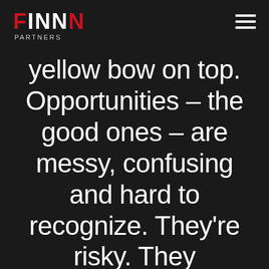FINN PARTNERS
yellow bow on top. Opportunities – the good ones – are messy, confusing and hard to recognize. They're risky. They